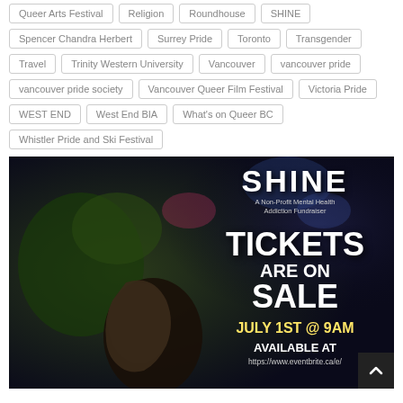Queer Arts Festival
Religion
Roundhouse
SHINE
Spencer Chandra Herbert
Surrey Pride
Toronto
Transgender
Travel
Trinity Western University
Vancouver
vancouver pride
vancouver pride society
Vancouver Queer Film Festival
Victoria Pride
WEST END
West End BIA
What's on Queer BC
Whistler Pride and Ski Festival
[Figure (photo): SHINE event poster. Dark background with a woman in profile wearing elaborate floral/nature headdress. Text reads: SHINE, A Non-Profit Mental Health Addiction Fundraiser, TICKETS ARE ON SALE, JULY 1ST @ 9AM, AVAILABLE AT, https://www.eventbrite.ca/e/]